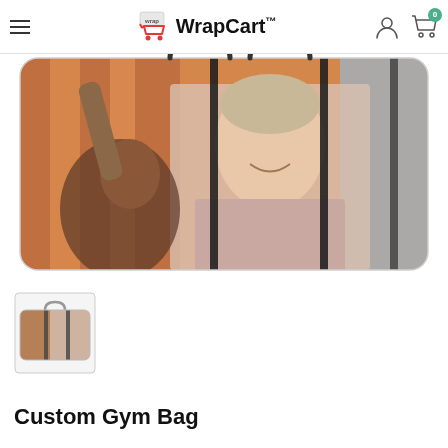WrapCart™
[Figure (photo): Large custom gym bag with photo wrap print showing two happy young people (a man and a woman) laughing, with orange/warm background. Bag has dark handles and straps.]
[Figure (photo): Small thumbnail of the same custom gym bag product.]
Custom Gym Bag